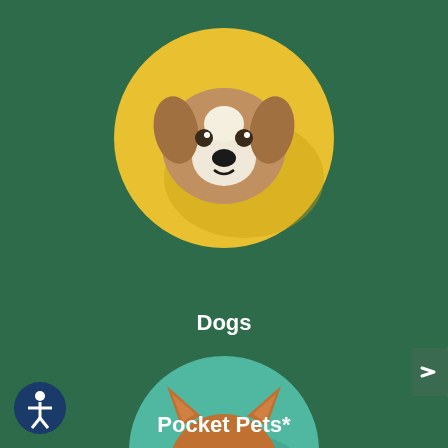[Figure (illustration): Yellow circle icon with a cartoon dog face (brown and white spaniel) with shadow effect]
Dogs
[Figure (illustration): Teal/mint circle icon with a cartoon cat/pocket pet face (orange and white) with shadow effect]
Pocket Pets*
[Figure (illustration): Accessibility button icon - circular dark blue button with human figure symbol]
[Figure (illustration): Small dark green arrow button on right edge]